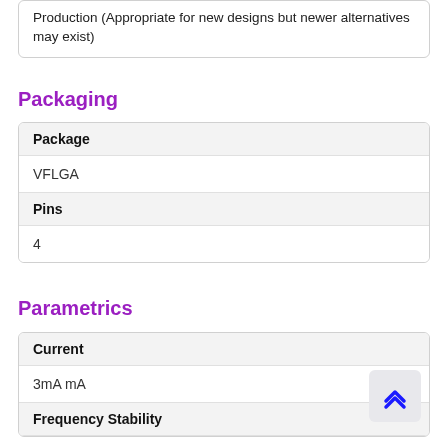Production (Appropriate for new designs but newer alternatives may exist)
Packaging
| Package |
| --- |
| VFLGA |
| Pins |
| --- |
| 4 |
Parametrics
| Current |
| --- |
| 3mA mA |
| Frequency Stability |
| --- |